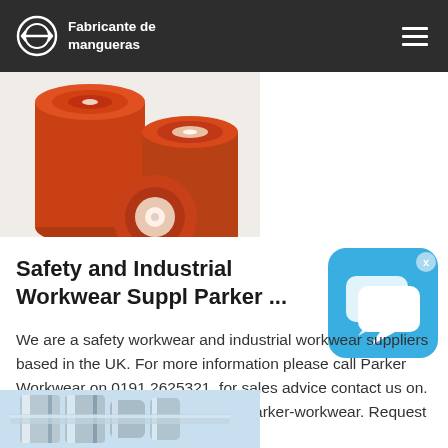Fabricante de mangueras
[Figure (photo): Orange industrial hoses/tubes shown end-on and from the side, showing cross-section of orange rubber hose with white/cream inner lining]
Safety and Industrial Workwear Suppl Parker ...
[Figure (illustration): Blue rounded-rectangle chat/messaging app icon with two overlapping speech bubbles in white]
We are a safety workwear and industrial workwear suppliers based in the UK. For more information please call Parker Workwear on 0191 2625321. for sales advice contact us on. Tel: 0191 2625321 email: sales@parker-workwear. Request alogue
[Figure (photo): Metal industrial pipe fittings or couplings, chrome/silver colored, against a light blue background]